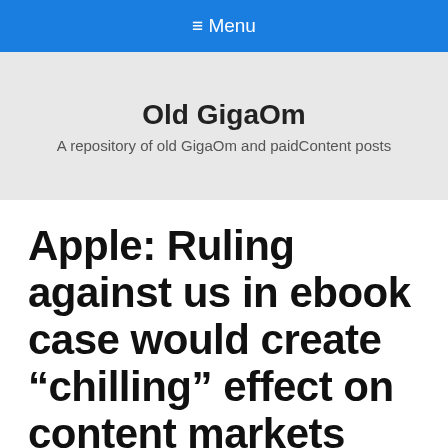≡ Menu
Old GigaOm
A repository of old GigaOm and paidContent posts
Apple: Ruling against us in ebook case would create “chilling” effect on content markets
on June 20, 2013